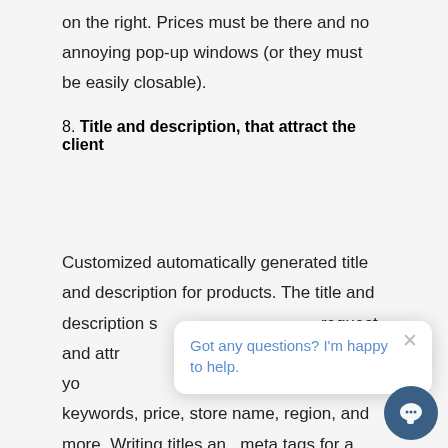on the right. Prices must be there and no annoying pop-up windows (or they must be easily closable).
8. Title and description, that attract the client
Customized automatically generated title and description for products. The title and description s… request and attra… good snippet, yo… product name, keywords, price, store name, region, and more. Writing titles an… meta tags for a large number of goods is